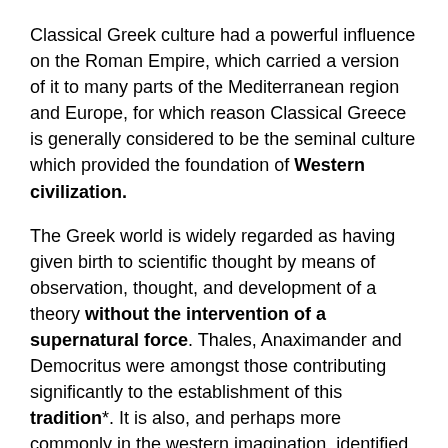Classical Greek culture had a powerful influence on the Roman Empire, which carried a version of it to many parts of the Mediterranean region and Europe, for which reason Classical Greece is generally considered to be the seminal culture which provided the foundation of Western civilization.
The Greek world is widely regarded as having given birth to scientific thought by means of observation, thought, and development of a theory without the intervention of a supernatural force. Thales, Anaximander and Democritus were amongst those contributing significantly to the establishment of this tradition*. It is also, and perhaps more commonly in the western imagination, identified with the dawn of Western Philosophy, as well as a mapping out of the Natural Sciences.
*He replied, "Isaiah was right when he prophesied about you hypocrites; as it is written: " 'These people honor me